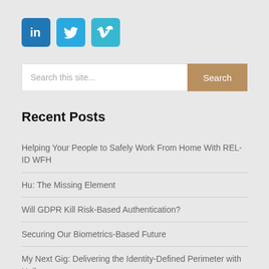[Figure (logo): Three social media icon buttons: LinkedIn (dark blue), Twitter (medium blue), Vimeo (cyan/teal)]
[Figure (other): Search bar with placeholder text 'Search this site...' and a tan/gold 'Search' button on the right]
Recent Posts
Helping Your People to Safely Work From Home With REL-ID WFH
Hu: The Missing Element
Will GDPR Kill Risk-Based Authentication?
Securing Our Biometrics-Based Future
My Next Gig: Delivering the Identity-Defined Perimeter with Uniken